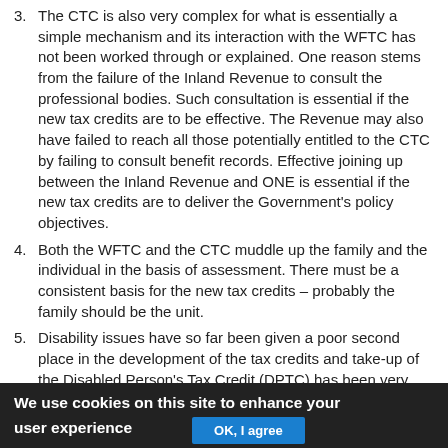3. The CTC is also very complex for what is essentially a simple mechanism and its interaction with the WFTC has not been worked through or explained. One reason stems from the failure of the Inland Revenue to consult the professional bodies. Such consultation is essential if the new tax credits are to be effective. The Revenue may also have failed to reach all those potentially entitled to the CTC by failing to consult benefit records. Effective joining up between the Inland Revenue and ONE is essential if the new tax credits are to deliver the Government's policy objectives.
4. Both the WFTC and the CTC muddle up the family and the individual in the basis of assessment. There must be a consistent basis for the new tax credits – probably the family should be the unit.
5. Disability issues have so far been given a poor second place in the development of the tax credits and take-up of the Disabled Person's Tax Credit (DPTC) has been very disappointing. The needs of the disabled must be given
We use cookies on this site to enhance your user experience